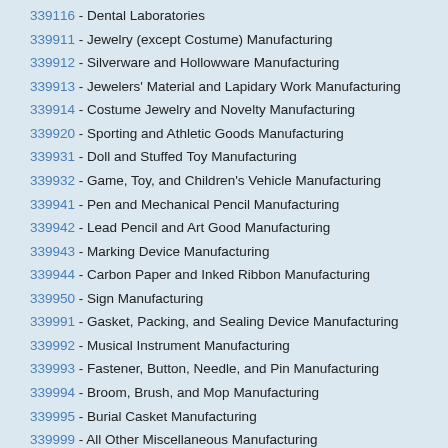339116 - Dental Laboratories
339911 - Jewelry (except Costume) Manufacturing
339912 - Silverware and Hollowware Manufacturing
339913 - Jewelers' Material and Lapidary Work Manufacturing
339914 - Costume Jewelry and Novelty Manufacturing
339920 - Sporting and Athletic Goods Manufacturing
339931 - Doll and Stuffed Toy Manufacturing
339932 - Game, Toy, and Children's Vehicle Manufacturing
339941 - Pen and Mechanical Pencil Manufacturing
339942 - Lead Pencil and Art Good Manufacturing
339943 - Marking Device Manufacturing
339944 - Carbon Paper and Inked Ribbon Manufacturing
339950 - Sign Manufacturing
339991 - Gasket, Packing, and Sealing Device Manufacturing
339992 - Musical Instrument Manufacturing
339993 - Fastener, Button, Needle, and Pin Manufacturing
339994 - Broom, Brush, and Mop Manufacturing
339995 - Burial Casket Manufacturing
339999 - All Other Miscellaneous Manufacturing